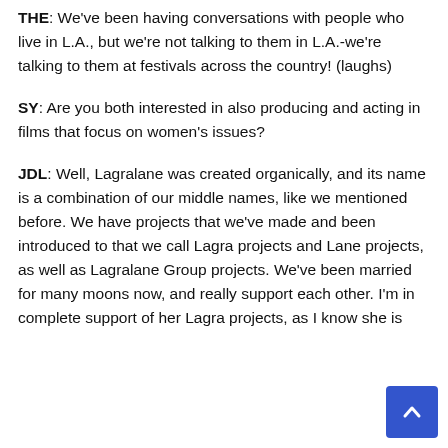THE: We've been having conversations with people who live in L.A., but we're not talking to them in L.A.-we're talking to them at festivals across the country! (laughs)
SY: Are you both interested in also producing and acting in films that focus on women's issues?
JDL: Well, Lagralane was created organically, and its name is a combination of our middle names, like we mentioned before. We have projects that we've made and been introduced to that we call Lagra projects and Lane projects, as well as Lagralane Group projects. We've been married for many moons now, and really support each other. I'm in complete support of her Lagra projects, as I know she is